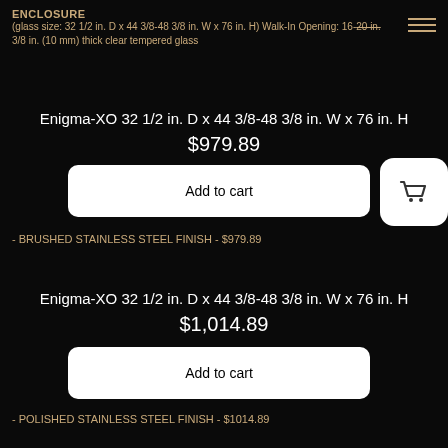ENCLOSURE
(glass size: 32 1/2 in. D x 44 3/8-48 3/8 in. W x 76 in. H) Walk-In Opening: 16-20 in.
3/8 in. (10 mm) thick clear tempered glass
Enigma-XO 32 1/2 in. D x 44 3/8-48 3/8 in. W x 76 in. H
$979.89
Add to cart
- BRUSHED STAINLESS STEEL FINISH - $979.89
Enigma-XO 32 1/2 in. D x 44 3/8-48 3/8 in. W x 76 in. H
$1,014.89
Add to cart
- POLISHED STAINLESS STEEL FINISH - $1014.89